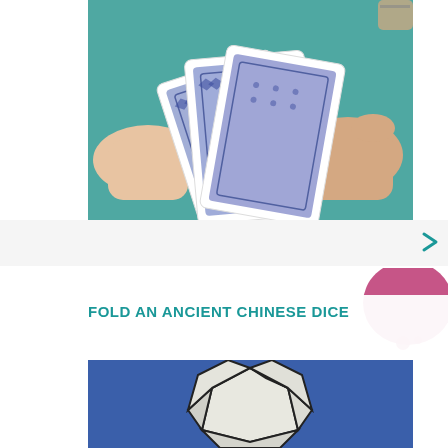[Figure (photo): Hands holding and fanning out a deck of playing cards with blue/purple patterned backs, against a teal background]
FOLD AN ANCIENT CHINESE DICE
[Figure (photo): A geometric 3D polyhedron shape made of white panels with dark edges, resembling an ancient Chinese dice, on a blue background]